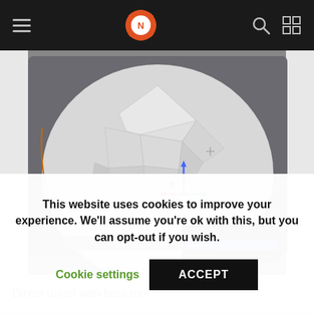Navigation bar with hamburger menu, logo, search and grid icons
[Figure (screenshot): Blender 3D viewport showing a large white low-poly sphere object with a 3-axis transform gizmo (red, green, blue arrows) in the center. A context menu shows 'Direct Union' (highlighted) with shortcut 'Shift Ctrl Numpad +' and 'Brush Union' with 'Ctrl Numpad +'. The scene has a reflective floor and orange-outlined selection.]
Direct union with bool tool
This website uses cookies to improve your experience. We'll assume you're ok with this, but you can opt-out if you wish.
Cookie settings
ACCEPT